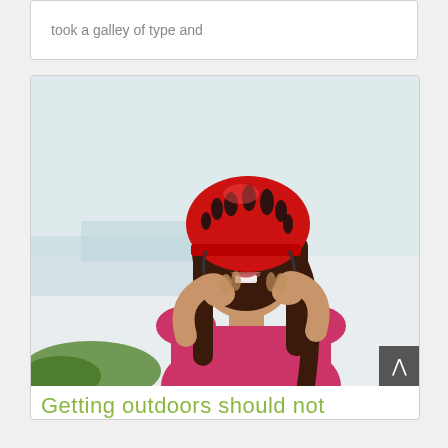took a galley of type and
[Figure (photo): A smiling woman wearing a red bicycle helmet and pink sleeveless top, adjusting her helmet straps. Background shows a light sky and some greenery.]
Getting outdoors should not